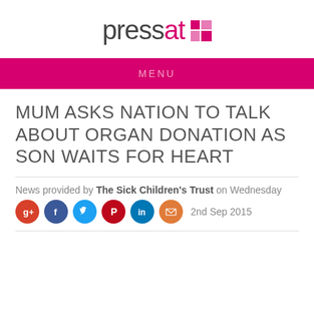[Figure (logo): Pressat logo: 'pressat' in grey light font with pink 'at', followed by a pink grid/checkerboard icon]
MENU
MUM ASKS NATION TO TALK ABOUT ORGAN DONATION AS SON WAITS FOR HEART
News provided by The Sick Children's Trust on Wednesday
2nd Sep 2015